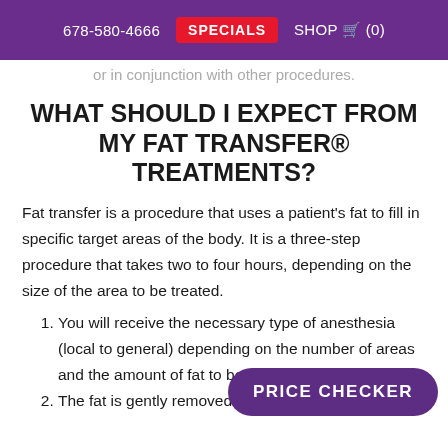678-580-4666 SPECIALS SHOP (0)
or in conjunction with other procedures.
WHAT SHOULD I EXPECT FROM MY FAT TRANSFER® TREATMENTS?
Fat transfer is a procedure that uses a patient's fat to fill in specific target areas of the body. It is a three-step procedure that takes two to four hours, depending on the size of the area to be treated.
You will receive the necessary type of anesthesia (local to general) depending on the number of areas and the amount of fat to be transferred.
The fat is gently removed from the harvest
[Figure (other): PRICE CHECKER button overlay]